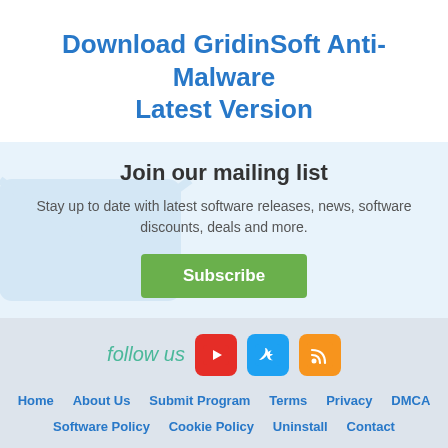Download GridinSoft Anti-Malware Latest Version
Join our mailing list
Stay up to date with latest software releases, news, software discounts, deals and more.
Subscribe
[Figure (infographic): Follow us social media icons row: YouTube (red), Twitter (blue), RSS (orange)]
follow us
Home   About Us   Submit Program   Terms   Privacy   DMCA   Software Policy   Cookie Policy   Uninstall   Contact
Copyright © 2022 Full Stack Technology FZCO. All rights reserved